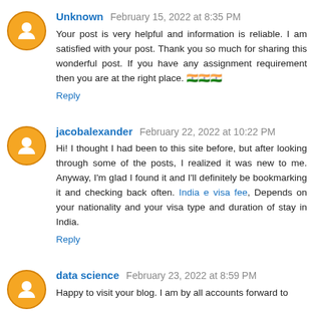Unknown February 15, 2022 at 8:35 PM
Your post is very helpful and information is reliable. I am satisfied with your post. Thank you so much for sharing this wonderful post. If you have any assignment requirement then you are at the right place. [link]
Reply
jacobalexander February 22, 2022 at 10:22 PM
Hi! I thought I had been to this site before, but after looking through some of the posts, I realized it was new to me. Anyway, I'm glad I found it and I'll definitely be bookmarking it and checking back often. India e visa fee, Depends on your nationality and your visa type and duration of stay in India.
Reply
data science February 23, 2022 at 8:59 PM
Happy to visit your blog. I am by all accounts forward to